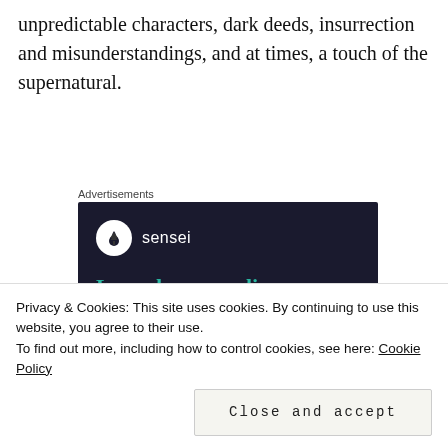unpredictable characters, dark deeds, insurrection and misunderstandings, and at times, a touch of the supernatural.
Advertisements
[Figure (screenshot): Advertisement for 'sensei' service with dark navy background, sensei logo (white circle with tree icon), and teal text reading 'Launch your online']
Privacy & Cookies: This site uses cookies. By continuing to use this website, you agree to their use.
To find out more, including how to control cookies, see here: Cookie Policy